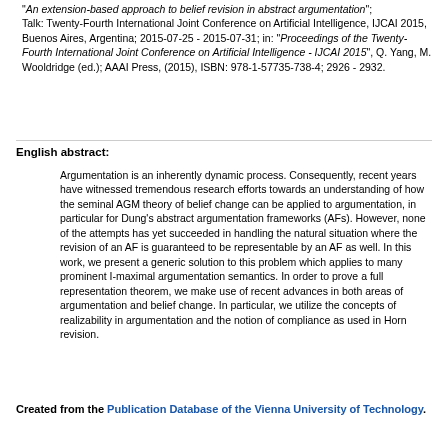"An extension-based approach to belief revision in abstract argumentation"; Talk: Twenty-Fourth International Joint Conference on Artificial Intelligence, IJCAI 2015, Buenos Aires, Argentina; 2015-07-25 - 2015-07-31; in: "Proceedings of the Twenty-Fourth International Joint Conference on Artificial Intelligence - IJCAI 2015", Q. Yang, M. Wooldridge (ed.); AAAI Press, (2015), ISBN: 978-1-57735-738-4; 2926 - 2932.
English abstract:
Argumentation is an inherently dynamic process. Consequently, recent years have witnessed tremendous research efforts towards an understanding of how the seminal AGM theory of belief change can be applied to argumentation, in particular for Dung's abstract argumentation frameworks (AFs). However, none of the attempts has yet succeeded in handling the natural situation where the revision of an AF is guaranteed to be representable by an AF as well. In this work, we present a generic solution to this problem which applies to many prominent I-maximal argumentation semantics. In order to prove a full representation theorem, we make use of recent advances in both areas of argumentation and belief change. In particular, we utilize the concepts of realizability in argumentation and the notion of compliance as used in Horn revision.
Created from the Publication Database of the Vienna University of Technology.